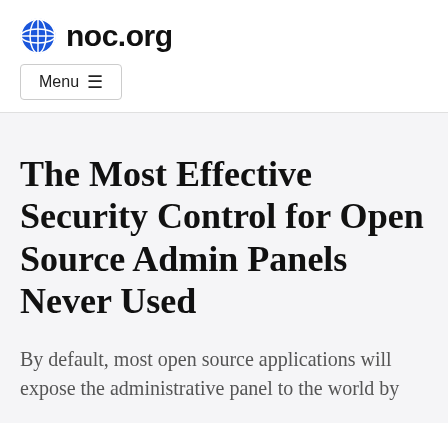noc.org
Menu ≡
The Most Effective Security Control for Open Source Admin Panels Never Used
By default, most open source applications will expose the administrative panel to the world by